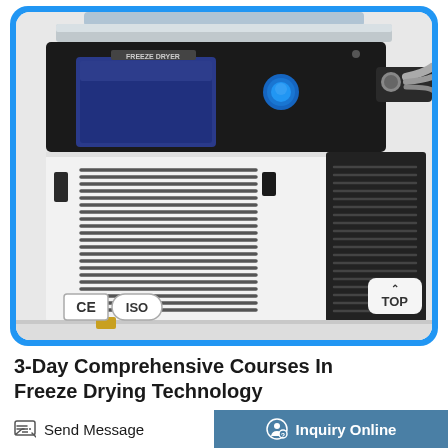[Figure (photo): A laboratory freeze dryer machine with a black front panel labeled 'FREEZE DRYER', touchscreen display, blue button, ventilation grilles on white casing, and a metal connector on the right side. CE and ISO certification badges visible at the bottom left. A 'TOP' navigation badge appears at the bottom right of the image card.]
3-Day Comprehensive Courses In Freeze Drying Technology
Send Message
Inquiry Online